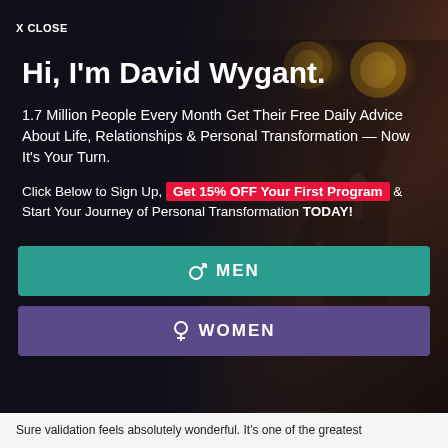X CLOSE
Hi, I'm David Wygant.
1.7 Million People Every Month Get Their Free Daily Advice About Life, Relationships & Personal Transformation — Now It's Your Turn.
Click Below to Sign Up, Get 15% OFF Your First Program & Start Your Journey of Personal Transformation TODAY!
[Figure (other): MEN button - teal/green background with male gender symbol icon]
[Figure (other): WOMEN button - purple background with female gender symbol icon]
Sure validation feels absolutely wonderful. It's one of the greatest